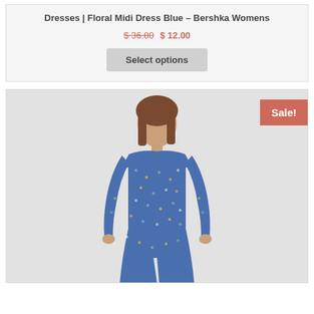Dresses | Floral Midi Dress Blue – Bershka Womens
$ 36.80 $ 12.00
Select options
[Figure (photo): A woman wearing a blue floral midi dress with long sleeves and a square neckline, standing against a light gray background. A 'Sale!' badge appears in the top-right corner of the product card.]